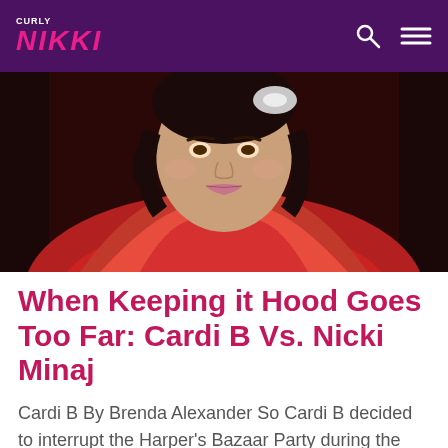CURLY NIKKI
[Figure (photo): Close-up photo of a woman wearing a red ruffled outfit with a gold ornate necklace, dark curly hair, light skin, lips slightly open]
When Keeping it Hood Goes Too Far: Cardi B Vs. Nicki Minaj
Cardi B  By Brenda Alexander So Cardi B decided to interrupt the Harper's Bazaar Party during the fashion industry's premiere celebration of New York Fashion